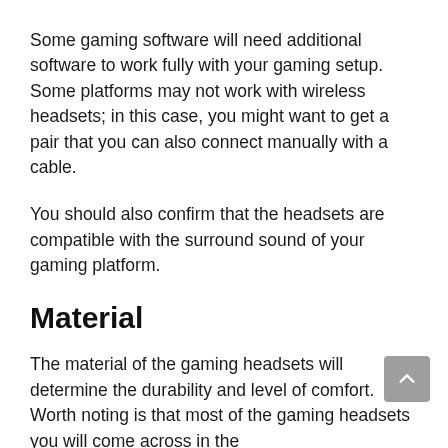Some gaming software will need additional software to work fully with your gaming setup. Some platforms may not work with wireless headsets; in this case, you might want to get a pair that you can also connect manually with a cable.
You should also confirm that the headsets are compatible with the surround sound of your gaming platform.
Material
The material of the gaming headsets will determine the durability and level of comfort. Worth noting is that most of the gaming headsets you will come across in the